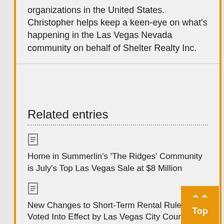organizations in the United States. Christopher helps keep a keen-eye on what's happening in the Las Vegas Nevada community on behalf of Shelter Realty Inc.
Related entries
Home in Summerlin's 'The Ridges' Community is July's Top Las Vegas Sale at $8 Million
New Changes to Short-Term Rental Rules Voted Into Effect by Las Vegas City Council
Blackstone's Sale of Las Vegas Cosmopolitan is Company's "Most Profitable" Sale Ever